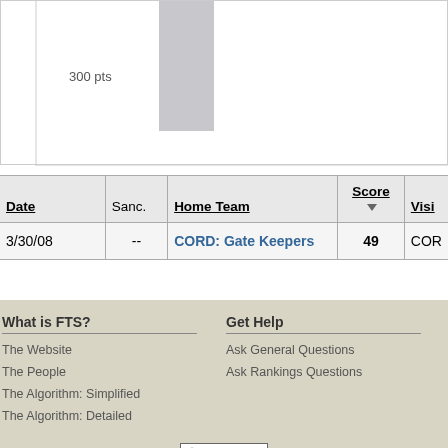[Figure (bar-chart): Partial bar chart showing approximately 300 pts label on y-axis with a bar visible at top]
| Date | Sanc. | Home Team | Score ▼ | Visi... |
| --- | --- | --- | --- | --- |
| 3/30/08 | -- | CORD: Gate Keepers | 49 | COR... |
What is FTS?
The Website
The People
The Algorithm: Simplified
The Algorithm: Detailed
Get Help
Ask General Questions
Ask Rankings Questions
[Figure (logo): Creative Commons BY-NC-SA badge]
All league logos are copywritten per their respective copyright holders.